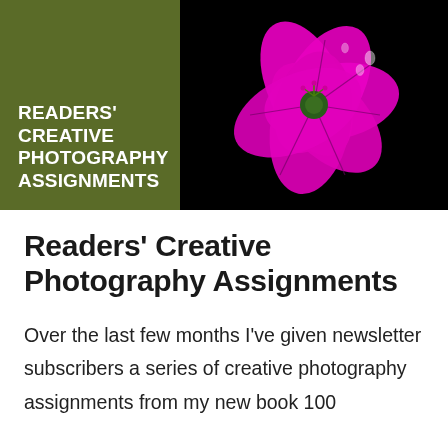[Figure (photo): Banner image with dark olive/green left panel containing white bold text 'READERS' CREATIVE PHOTOGRAPHY ASSIGNMENTS', and right black background panel showing a vivid magenta/pink flower with water droplets against black background.]
Readers’ Creative Photography Assignments
Over the last few months I’ve given newsletter subscribers a series of creative photography assignments from my new book 100